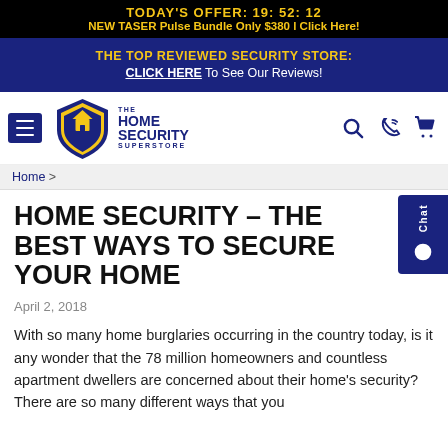TODAY'S OFFER: 19:52:12
NEW TASER Pulse Bundle Only $380 | Click Here!
THE TOP REVIEWED SECURITY STORE:
CLICK HERE To See Our Reviews!
[Figure (logo): The Home Security Superstore logo with shield icon]
Home >
HOME SECURITY – THE BEST WAYS TO SECURE YOUR HOME
April 2, 2018
With so many home burglaries occurring in the country today, is it any wonder that the 78 million homeowners and countless apartment dwellers are concerned about their home's security? There are so many different ways that you